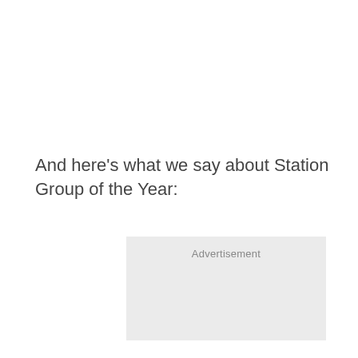And here's what we say about Station Group of the Year:
[Figure (other): Advertisement placeholder box with light grey background and 'Advertisement' label at top center]